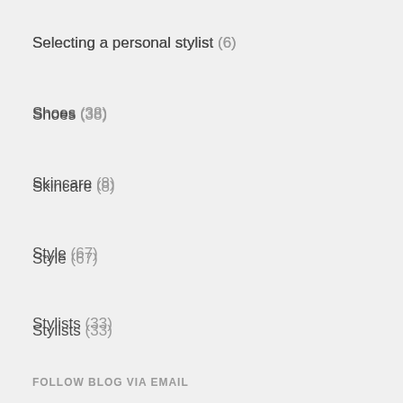Selecting a personal stylist (6)
Shoes (38)
Skincare (8)
Style (67)
Stylists (33)
Travel Clothes (7)
Video (33)
Wardrobe (57)
Wardrobe Planning Hits & Misses (37)
FOLLOW BLOG VIA EMAIL